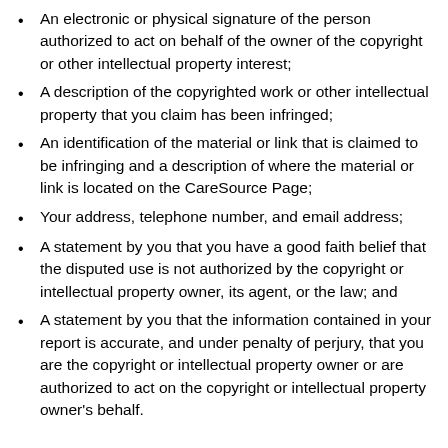An electronic or physical signature of the person authorized to act on behalf of the owner of the copyright or other intellectual property interest;
A description of the copyrighted work or other intellectual property that you claim has been infringed;
An identification of the material or link that is claimed to be infringing and a description of where the material or link is located on the CareSource Page;
Your address, telephone number, and email address;
A statement by you that you have a good faith belief that the disputed use is not authorized by the copyright or intellectual property owner, its agent, or the law; and
A statement by you that the information contained in your report is accurate, and under penalty of perjury, that you are the copyright or intellectual property owner or are authorized to act on the copyright or intellectual property owner's behalf.